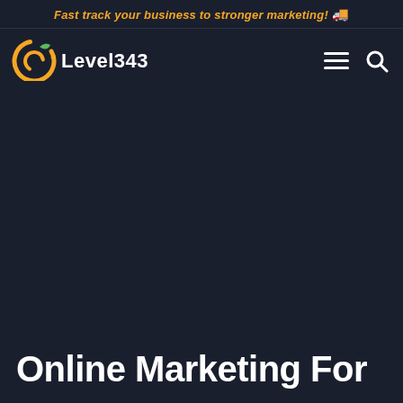Fast track your business to stronger marketing! 🚚
[Figure (logo): Level343 logo — orange circular arrow icon with green leaf accent, white text 'Level343']
Online Marketing For